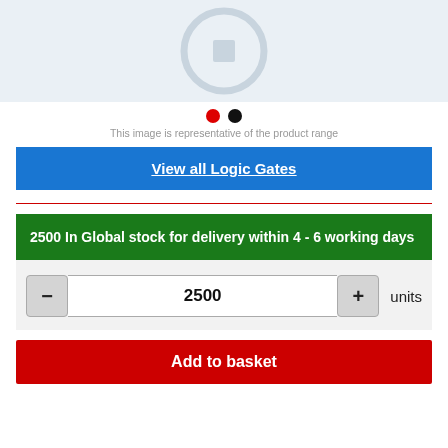[Figure (illustration): Product image placeholder showing a circular/clock-like outline icon on a light blue-grey background]
This image is representative of the product range
View all Logic Gates
2500 In Global stock for delivery within 4 - 6 working days
2500 units
Add to basket